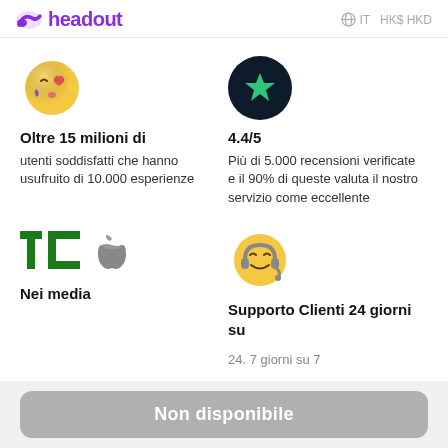headout   IT  HK$ HKD
[Figure (illustration): Kissing face emoji with heart and purple petal]
Oltre 15 milioni di
utenti soddisfatti che hanno usufruito di 10.000 esperienze
[Figure (illustration): Dark navy circle with green star inside (Trustpilot-style icon)]
4.4/5
Più di 5.000 recensioni verificate e il 90% di queste valuta il nostro servizio come eccellente
[Figure (logo): TechCrunch TC green logo and Apple logo]
Nei media
[Figure (illustration): Smiling face emoji with headset]
Supporto Clienti 24 giorni su
Non disponibile